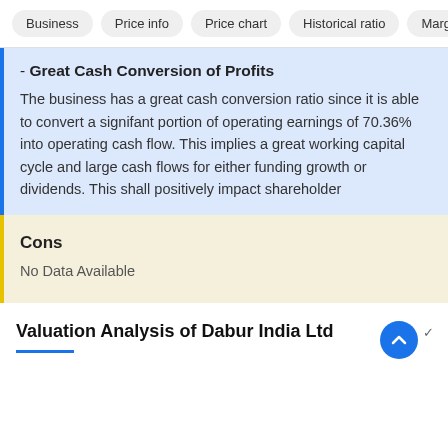Business | Price info | Price chart | Historical ratio | Marg
- Great Cash Conversion of Profits
The business has a great cash conversion ratio since it is able to convert a signifant portion of operating earnings of 70.36% into operating cash flow. This implies a great working capital cycle and large cash flows for either funding growth or dividends. This shall positively impact shareholder
Cons
No Data Available
Valuation Analysis of Dabur India Ltd